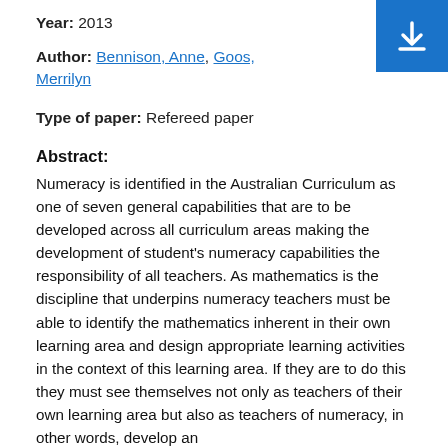Year: 2013
Author: Bennison, Anne, Goos, Merrilyn
Type of paper: Refereed paper
Abstract:
Numeracy is identified in the Australian Curriculum as one of seven general capabilities that are to be developed across all curriculum areas making the development of student's numeracy capabilities the responsibility of all teachers. As mathematics is the discipline that underpins numeracy teachers must be able to identify the mathematics inherent in their own learning area and design appropriate learning activities in the context of this learning area. If they are to do this they must see themselves not only as teachers of their own learning area but also as teachers of numeracy, in other words, develop an
[Figure (other): Blue download button with white download arrow icon, positioned in the top-right corner]